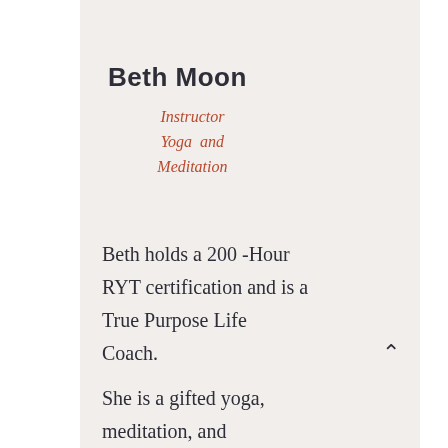Beth Moon
Instructor
Yoga and
Meditation
Beth holds a 200 -Hour RYT certification and is a True Purpose Life Coach.
She is a gifted yoga, meditation, and